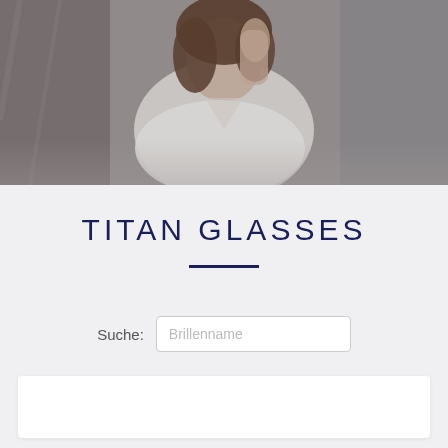[Figure (photo): Woman with brown hair wearing a white ribbed sweater, sitting in front of a dark metal background, touching her face/hair with one hand]
TITAN GLASSES
Suche: Brillenname